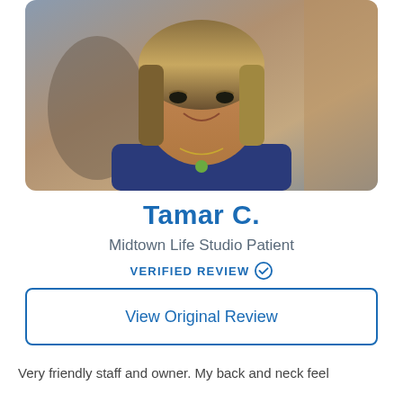[Figure (photo): Portrait photo of a smiling woman with highlighted hair, wearing a navy blue sleeveless top and a green pendant necklace.]
Tamar C.
Midtown Life Studio Patient
VERIFIED REVIEW ✓
View Original Review
Very friendly staff and owner. My back and neck feel